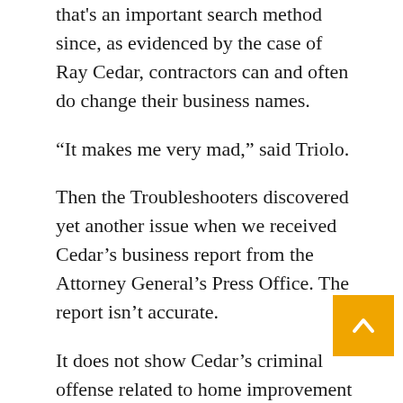that's an important search method since, as evidenced by the case of Ray Cedar, contractors can and often do change their business names.
“It makes me very mad,” said Triolo.
Then the Troubleshooters discovered yet another issue when we received Cedar’s business report from the Attorney General’s Press Office. The report isn’t accurate.
It does not show Cedar’s criminal offense related to home improvement nor does it show the list of civil judgments against him, including Triolo’s. It also does not show his prior business names.
The Troubleshooters alerted the Attorney General’s Office to the inaccuracies on Cedar’s report repeatedly, but at last check, it still hasn been fully fixed.